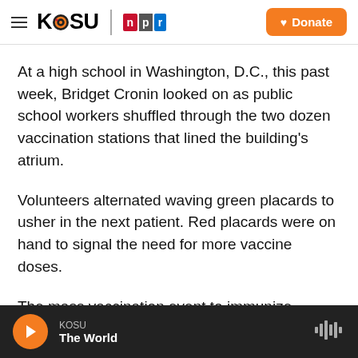KOSU | NPR — Donate
At a high school in Washington, D.C., this past week, Bridget Cronin looked on as public school workers shuffled through the two dozen vaccination stations that lined the building's atrium.
Volunteers alternated waving green placards to usher in the next patient. Red placards were on hand to signal the need for more vaccine doses.
The mass vaccination event to immunize teachers and other public school workers in the district, held at Dunbar High School, was the culmination of
KOSU — The World